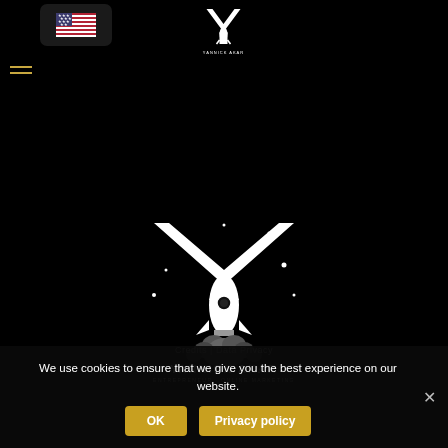[Figure (logo): Hamburger menu icon with two golden/amber horizontal lines]
[Figure (logo): US flag icon in a dark rounded rectangle button]
[Figure (logo): Small Yannick Akar logo (white Y with rocket) at top center header]
[Figure (logo): Large Yannick Akar logo: white Y shape with rocket launching from below, stars around it, text YANNICK AKAR and subtitle below]
Credits | Data Privacy
ALL IMAGES © 2021 YANNICK AKAR
We use cookies to ensure that we give you the best experience on our website.
OK
Privacy policy